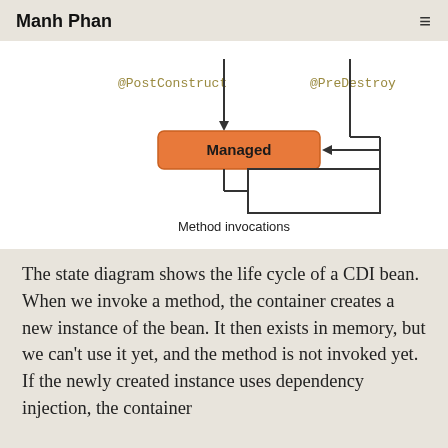Manh Phan
[Figure (flowchart): State diagram showing the life cycle of a CDI bean. Shows @PostConstruct and @PreDestroy annotations with arrows pointing to/from a 'Managed' state box (orange/salmon color). A rectangle below labeled 'Method invocations' connects back to the Managed state with a left-pointing arrow.]
The state diagram shows the life cycle of a CDI bean. When we invoke a method, the container creates a new instance of the bean. It then exists in memory, but we can't use it yet, and the method is not invoked yet. If the newly created instance uses dependency injection, the container